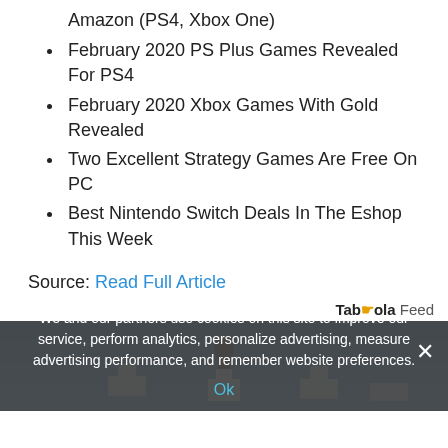Amazon (PS4, Xbox One)
February 2020 PS Plus Games Revealed For PS4
February 2020 Xbox Games With Gold Revealed
Two Excellent Strategy Games Are Free On PC
Best Nintendo Switch Deals In The Eshop This Week
Source: Read Full Article
Taboola Feed
[Figure (photo): Taboola feed image showing a person silhouette against a blue sky background]
We and our partners use cookies on this site to improve our service, perform analytics, personalize advertising, measure advertising performance, and remember website preferences.
Ok